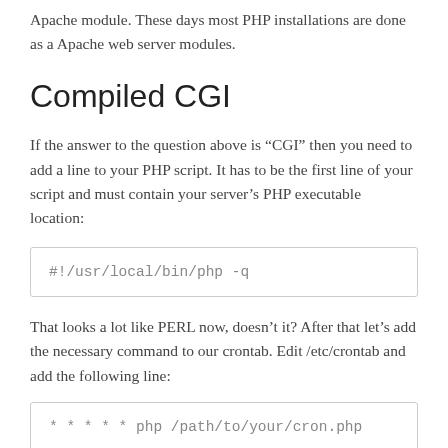Apache module. These days most PHP installations are done as a Apache web server modules.
Compiled CGI
If the answer to the question above is “CGI” then you need to add a line to your PHP script. It has to be the first line of your script and must contain your server’s PHP executable location:
#!/usr/local/bin/php -q
That looks a lot like PERL now, doesn’t it? After that let’s add the necessary command to our crontab. Edit /etc/crontab and add the following line:
* * * * * php /path/to/your/cron.php